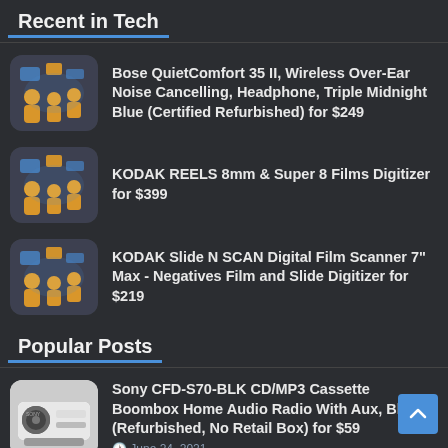Recent in Tech
Bose QuietComfort 35 II, Wireless Over-Ear Noise Cancelling, Headphone, Triple Midnight Blue (Certified Refurbished) for $249
KODAK REELS 8mm & Super 8 Films Digitizer for $399
KODAK Slide N SCAN Digital Film Scanner 7" Max - Negatives Film and Slide Digitizer for $219
Popular Posts
Sony CFD-S70-BLK CD/MP3 Cassette Boombox Home Audio Radio With Aux, Black (Refurbished, No Retail Box) for $59
June 24, 2021